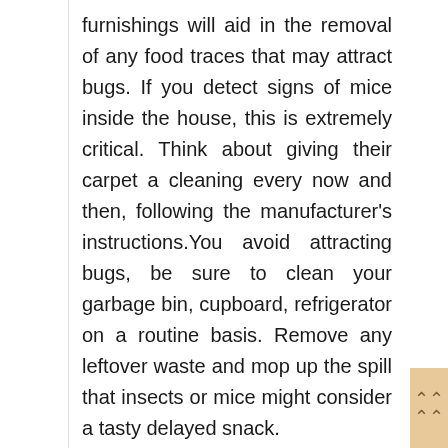furnishings will aid in the removal of any food traces that may attract bugs. If you detect signs of mice inside the house, this is extremely critical. Think about giving their carpet a cleaning every now and then, following the manufacturer's instructions.You avoid attracting bugs, be sure to clean your garbage bin, cupboard, refrigerator on a routine basis. Remove any leftover waste and mop up the spill that insects or mice might consider a tasty delayed snack.
Make the daily cleaning regimen and stick to it after your home has been well cleaned. It simply takes a few minutes each day to establish a healthy routine...